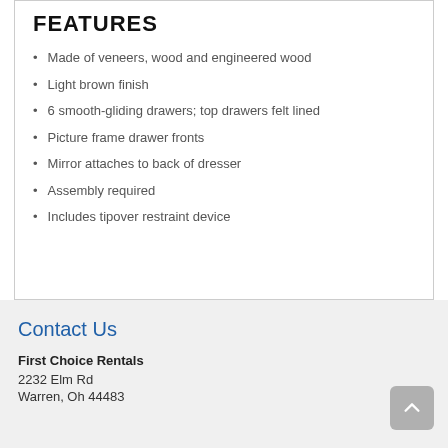FEATURES
Made of veneers, wood and engineered wood
Light brown finish
6 smooth-gliding drawers; top drawers felt lined
Picture frame drawer fronts
Mirror attaches to back of dresser
Assembly required
Includes tipover restraint device
Contact Us
First Choice Rentals
2232 Elm Rd
Warren, Oh 44483